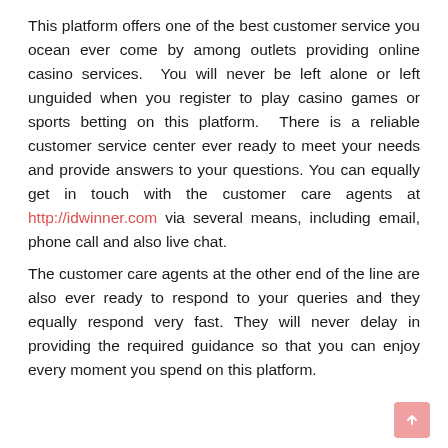This platform offers one of the best customer service you ocean ever come by among outlets providing online casino services. You will never be left alone or left unguided when you register to play casino games or sports betting on this platform. There is a reliable customer service center ever ready to meet your needs and provide answers to your questions. You can equally get in touch with the customer care agents at http://idwinner.com via several means, including email, phone call and also live chat.
The customer care agents at the other end of the line are also ever ready to respond to your queries and they equally respond very fast. They will never delay in providing the required guidance so that you can enjoy every moment you spend on this platform.